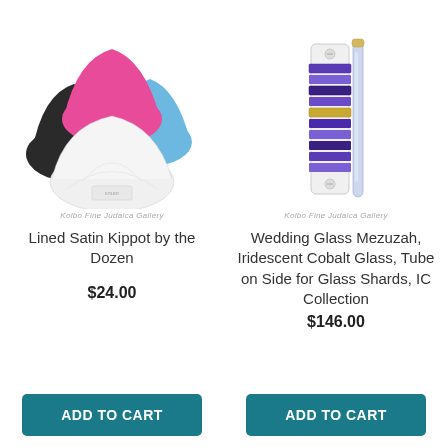[Figure (photo): Group of colorful satin kippot (Jewish skullcaps) in black, pink/magenta, blue, and white, stacked together. Watermark: Kolbo Fine Judaica Gallery]
Kolbo Fine Judaica Gallery
Lined Satin Kippot by the Dozen
$24.00
ADD TO CART
[Figure (photo): Wedding Glass Mezuzah with iridescent cobalt glass tiles stacked in alternating pattern on white backing, with clear tube on the side for glass shards. Watermark: Kolbo Fine Judaica Gallery]
Kolbo Fine Judaica Gallery
Wedding Glass Mezuzah, Iridescent Cobalt Glass, Tube on Side for Glass Shards, IC Collection
$146.00
ADD TO CART